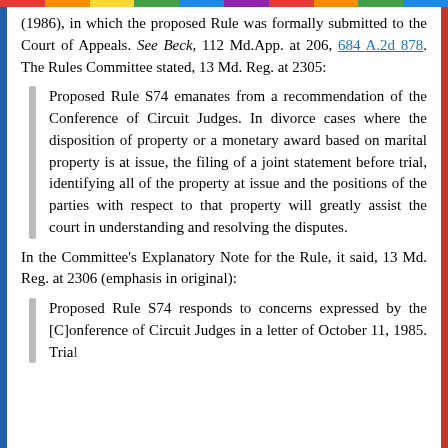(1986), in which the proposed Rule was formally submitted to the Court of Appeals. See Beck, 112 Md.App. at 206, 684 A.2d 878. The Rules Committee stated, 13 Md. Reg. at 2305:
Proposed Rule S74 emanates from a recommendation of the Conference of Circuit Judges. In divorce cases where the disposition of property or a monetary award based on marital property is at issue, the filing of a joint statement before trial, identifying all of the property at issue and the positions of the parties with respect to that property will greatly assist the court in understanding and resolving the disputes.
In the Committee's Explanatory Note for the Rule, it said, 13 Md. Reg. at 2306 (emphasis in original):
Proposed Rule S74 responds to concerns expressed by the [C]onference of Circuit Judges in a letter of October 11, 1985. Trial...